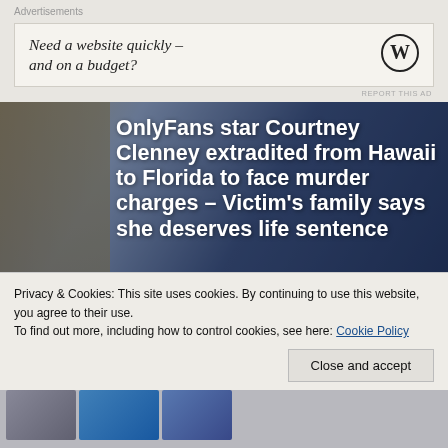Advertisements
[Figure (infographic): Advertisement banner: 'Need a website quickly – and on a budget?' with WordPress logo]
REPORT THIS AD
[Figure (photo): Hero image with person in background and article headline text overlay]
OnlyFans star Courtney Clenney extradited from Hawaii to Florida to face murder charges – Victim's family says she deserves life sentence
Privacy & Cookies: This site uses cookies. By continuing to use this website, you agree to their use.
To find out more, including how to control cookies, see here: Cookie Policy
Close and accept